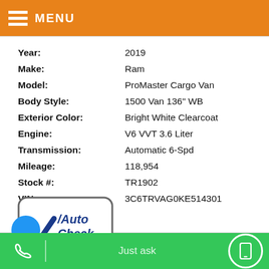MENU
| Field | Value |
| --- | --- |
| Year: | 2019 |
| Make: | Ram |
| Model: | ProMaster Cargo Van |
| Body Style: | 1500 Van 136" WB |
| Exterior Color: | Bright White Clearcoat |
| Engine: | V6 VVT 3.6 Liter |
| Transmission: | Automatic 6-Spd |
| Mileage: | 118,954 |
| Stock #: | TR1902 |
| VIN: | 3C6TRVAG0KE514301 |
[Figure (logo): AutoCheck - A part of Experian logo with blue checkmark inside rounded rectangle border]
Just ask